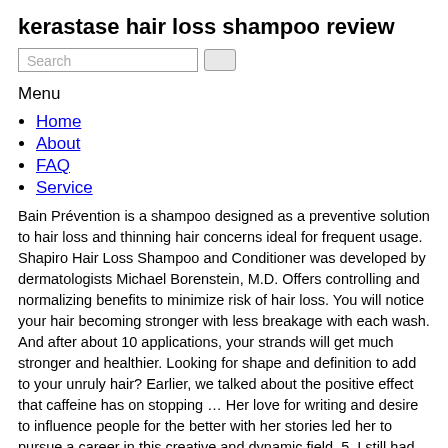kerastase hair loss shampoo review
Home
About
FAQ
Service
Bain Prévention is a shampoo designed as a preventive solution to hair loss and thinning hair concerns ideal for frequent usage. Shapiro Hair Loss Shampoo and Conditioner was developed by dermatologists Michael Borenstein, M.D. Offers controlling and normalizing benefits to minimize risk of hair loss. You will notice your hair becoming stronger with less breakage with each wash. And after about 10 applications, your strands will get much stronger and healthier. Looking for shape and definition to add to your unruly hair? Earlier, we talked about the positive effect that caffeine has on stopping … Her love for writing and desire to influence people for the better with her stories led her to pursue a career in this creative and dynamic field. 5. I still had to tie my hair up on … Kerastase Specifique Bain Stimuliste GL; Kerastase